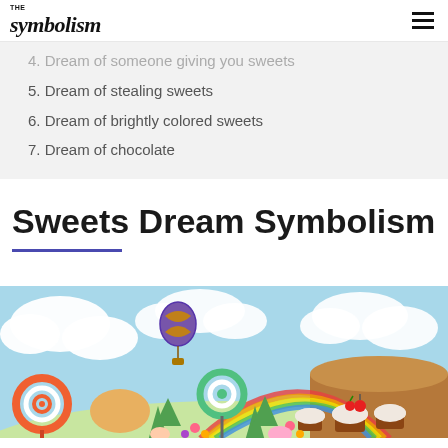THE symbolism
4. Dream of someone giving you sweets
5. Dream of stealing sweets
6. Dream of brightly colored sweets
7. Dream of chocolate
Sweets Dream Symbolism
[Figure (illustration): Colorful candy land illustration with lollipops, swirling candies, cupcakes with cherry, balloon shaped like candy, rainbow, clouds on blue sky background]